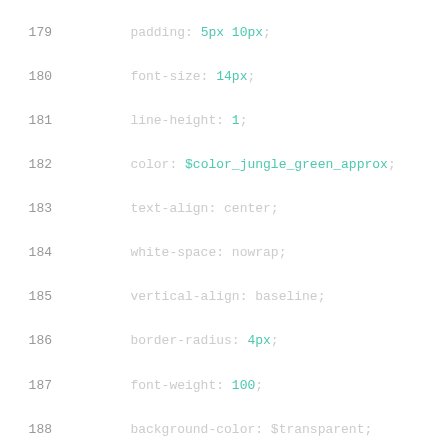179   padding: 5px 10px;
180   font-size: 14px;
181   line-height: 1;
182   color: $color_jungle_green_approx;
183   text-align: center;
184   white-space: nowrap;
185   vertical-align: baseline;
186   border-radius: 4px;
187   font-weight: 100;
188   background-color: $transparent;
189   border: 1px solid $color_jungle_green_appro
190   cursor: pointer;
191   &+.auditDetailBtn {
192       margin-left: 5px;
193   }
194 }
195
196 .add-seperator {
197   margin-bottom: 10px;
198   border-bottom: 1px solid $color_mirage_appro
199 }
200